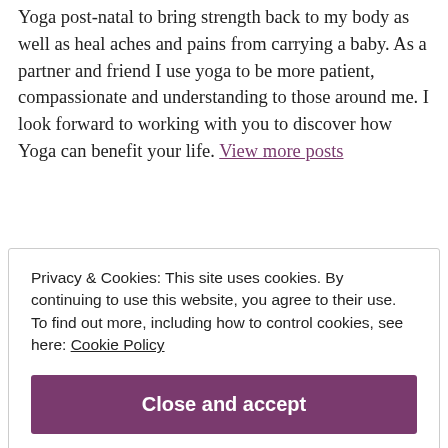Yoga post-natal to bring strength back to my body as well as heal aches and pains from carrying a baby. As a partner and friend I use yoga to be more patient, compassionate and understanding to those around me. I look forward to working with you to discover how Yoga can benefit your life. View more posts
Privacy & Cookies: This site uses cookies. By continuing to use this website, you agree to their use. To find out more, including how to control cookies, see here: Cookie Policy
Close and accept